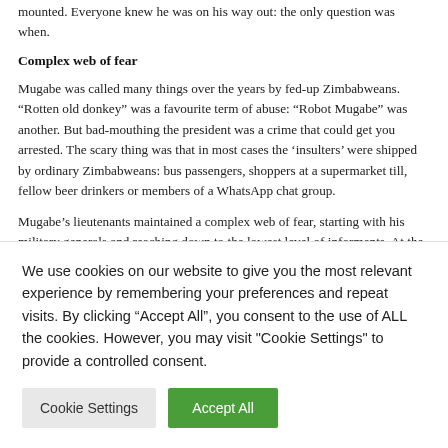mounted. Everyone knew he was on his way out: the only question was when.
Complex web of fear
Mugabe was called many things over the years by fed-up Zimbabweans. “Rotten old donkey” was a favourite term of abuse: “Robot Mugabe” was another. But bad-mouthing the president was a crime that could get you arrested. The scary thing was that in most cases the ‘insulters’ were shipped by ordinary Zimbabweans: bus passengers, shoppers at a supermarket till, fellow beer drinkers or members of a WhatsApp chat group.
Mugabe’s lieutenants maintained a complex web of fear, starting with his military generals and reaching down to the lowest level of informants. At the heart of the post-2000 crisis, Roman Catholic Archbishop Pius Ncube – himself brought down in a CIO honey-trap – estimated that 1 in 6
We use cookies on our website to give you the most relevant experience by remembering your preferences and repeat visits. By clicking “Accept All”, you consent to the use of ALL the cookies. However, you may visit “Cookie Settings” to provide a controlled consent.